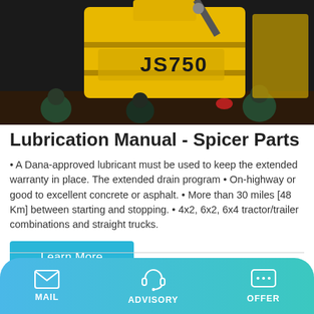[Figure (photo): Industrial construction machinery (yellow mixer/concrete plant labeled JS750) being loaded or lifted onto a truck at night, workers visible nearby.]
Lubrication Manual - Spicer Parts
• A Dana-approved lubricant must be used to keep the extended warranty in place. The extended drain program • On-highway or good to excellent concrete or asphalt. • More than 30 miles [48 Km] between starting and stopping. • 4x2, 6x2, 6x4 tractor/trailer combinations and straight trucks.
Learn More
MAIL   ADVISORY   OFFER